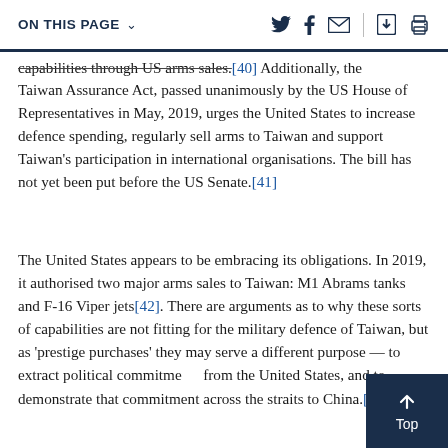ON THIS PAGE ∨
capabilities through US arms sales.[40] Additionally, the Taiwan Assurance Act, passed unanimously by the US House of Representatives in May, 2019, urges the United States to increase defence spending, regularly sell arms to Taiwan and support Taiwan's participation in international organisations. The bill has not yet been put before the US Senate.[41]
The United States appears to be embracing its obligations. In 2019, it authorised two major arms sales to Taiwan: M1 Abrams tanks and F-16 Viper jets[42]. There are arguments as to why these sorts of capabilities are not fitting for the military defence of Taiwan, but as 'prestige purchases' they may serve a different purpose — to extract political commitments from the United States, and to demonstrate that commitment across the straits to China.[43]